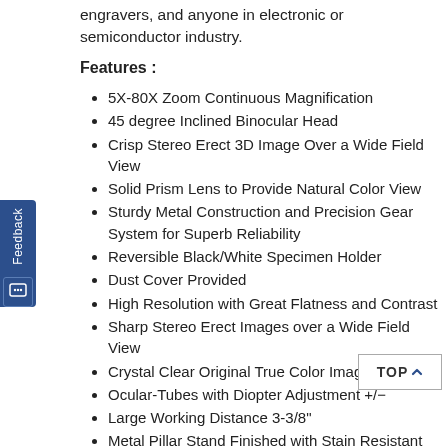engravers, and anyone in electronic or semiconductor industry.
Features :
5X-80X Zoom Continuous Magnification
45 degree Inclined Binocular Head
Crisp Stereo Erect 3D Image Over a Wide Field View
Solid Prism Lens to Provide Natural Color View
Sturdy Metal Construction and Precision Gear System for Superb Reliability
Reversible Black/White Specimen Holder
Dust Cover Provided
High Resolution with Great Flatness and Contrast
Sharp Stereo Erect Images over a Wide Field View
Crystal Clear Original True Color Images
Ocular-Tubes with Diopter Adjustment +/−
Large Working Distance 3-3/8"
Metal Pillar Stand Finished with Stain Resistant Enamel
Accurate Alignment Ensuring a Fatigue-Free Long Hour Viewing